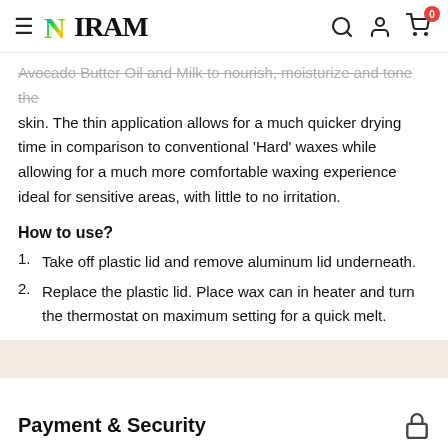NIRAM
Avocado Butter Oil and Milk to nourish, moisturize and tone the skin. The thin application allows for a much quicker drying time in comparison to conventional 'Hard' waxes while allowing for a much more comfortable waxing experience ideal for sensitive areas, with little to no irritation.
How to use?
1. Take off plastic lid and remove aluminum lid underneath.
2. Replace the plastic lid. Place wax can in heater and turn the thermostat on maximum setting for a quick melt.
Payment & Security